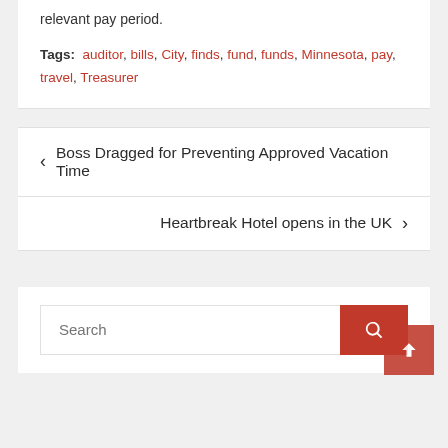relevant pay period.
Tags: auditor, bills, City, finds, fund, funds, Minnesota, pay, travel, Treasurer
< Boss Dragged for Preventing Approved Vacation Time
Heartbreak Hotel opens in the UK >
Search
Recent Posts
Str...